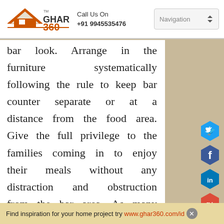GHAR 360 | Call Us On +91 9945535476 | Navigation
bar look. Arrange in the furniture systematically following the rule to keep bar counter separate or at a distance from the food area. Give the full privilege to the families coming in to enjoy their meals without any distraction and obstruction from the bar area. As many people don't like to see the
[Figure (infographic): Social media icons: Twitter (blue hexagon), Facebook (dark blue hexagon), LinkedIn (blue hexagon), Google+ (red hexagon)]
Find inspiration for your home project try www.ghar360.com/id